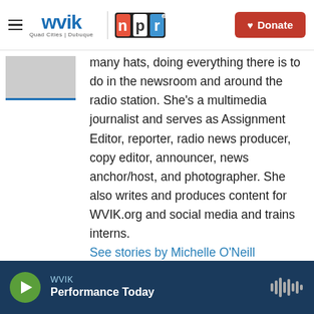[Figure (screenshot): WVIK NPR website header navigation bar with WVIK Quad Cities | Dubuque logo, NPR logo, and red Donate button]
[Figure (photo): Partial photo of a person, cropped at top-left of content area]
many hats, doing everything there is to do in the newsroom and around the radio station. She's a multimedia journalist and serves as Assignment Editor, reporter, radio news producer, copy editor, announcer, news anchor/host, and photographer. She also writes and produces content for WVIK.org and social media and trains interns.
See stories by Michelle O'Neill
WVIK Performance Today